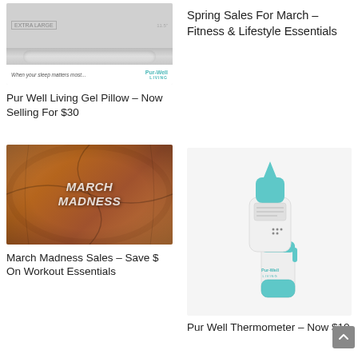[Figure (photo): Pur Well Living gel pillow product image with tagline 'When your sleep matters most...' and Pur-Well Living logo]
Spring Sales For March – Fitness & Lifestyle Essentials
Pur Well Living Gel Pillow – Now Selling For $30
[Figure (photo): Basketball with March Madness branding text embossed on it]
[Figure (photo): Pur Well infrared thermometer, white and teal colored, with Pur-Well Living logo]
March Madness Sales – Save $ On Workout Essentials
Pur Well Thermometer – Now $10